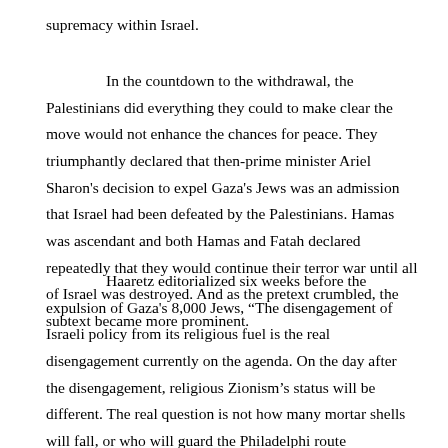supremacy within Israel.
In the countdown to the withdrawal, the Palestinians did everything they could to make clear the move would not enhance the chances for peace. They triumphantly declared that then-prime minister Ariel Sharon's decision to expel Gaza's Jews was an admission that Israel had been defeated by the Palestinians. Hamas was ascendant and both Hamas and Fatah declared repeatedly that they would continue their terror war until all of Israel was destroyed. And as the pretext crumbled, the subtext became more prominent.
Haaretz editorialized six weeks before the expulsion of Gaza's 8,000 Jews, “The disengagement of Israeli policy from its religious fuel is the real disengagement currently on the agenda. On the day after the disengagement, religious Zionism’s status will be different. The real question is not how many mortar shells will fall, or who will guard the Philadelphi route [connecting Gaza with Egypt], or whether the Palestinians will dance of the roofs of Ganei Tal. The real question is who sets the national agenda.”